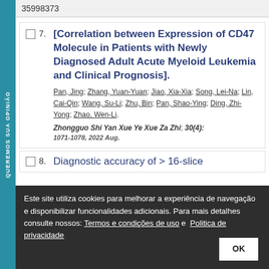35998373
7. [Correlation between Expression of CD47 Molecule in Patients with Newly Diagnosed Adult Acute Myeloid Leukemia and Clinical Prognosis]. Pan, Jing; Zhang, Yuan-Yuan; Jiao, Xia-Xia; Song, Lei-Na; Lin, Cai-Qin; Wang, Su-Li; Zhu, Bin; Pan, Shao-Ying; Ding, Zhi-Yong; Zhao, Wen-Li. Zhongguo Shi Yan Xue Ye Xue Za Zhi; 30(4): 1071-1078, 2022 Aug.
Este site utiliza cookies para melhorar a experiência de navegação e disponibilizar funcionalidades adicionais. Para mais detalhes consulte nossos: Termos e condições de uso e Politica de privacidade
8. Diagnostic accuracy of > 16-slice